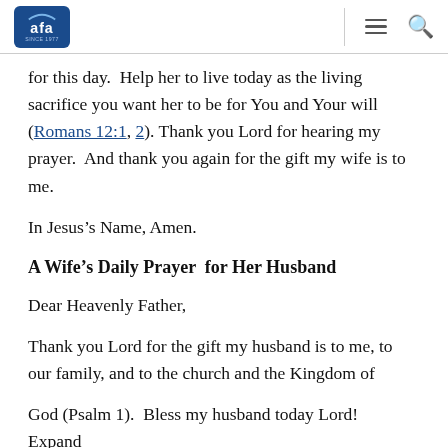AFA since 1977 [logo] ≡ 🔍
for this day.  Help her to live today as the living sacrifice you want her to be for You and Your will (Romans 12:1, 2).  Thank you Lord for hearing my prayer.  And thank you again for the gift my wife is to me.
In Jesus's Name, Amen.
A Wife's Daily Prayer for Her Husband
Dear Heavenly Father,
Thank you Lord for the gift my husband is to me, to our family, and to the church and the Kingdom of
God (Psalm 1).  Bless my husband today Lord!  Expand